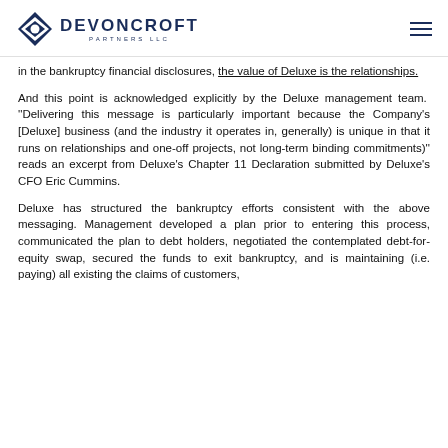DEVONCROFT PARTNERS LLC
in the bankruptcy financial disclosures, the value of Deluxe is the relationships.
And this point is acknowledged explicitly by the Deluxe management team.  "Delivering this message is particularly important because the Company's [Deluxe] business (and the industry it operates in, generally) is unique in that it runs on relationships and one-off projects, not long-term binding commitments)" reads an excerpt from Deluxe's Chapter 11 Declaration submitted by Deluxe's CFO Eric Cummins.
Deluxe has structured the bankruptcy efforts consistent with the above messaging. Management developed a plan prior to entering this process, communicated the plan to debt holders, negotiated the contemplated debt-for-equity swap, secured the funds to exit bankruptcy, and is maintaining (i.e. paying) all existing the claims of customers,